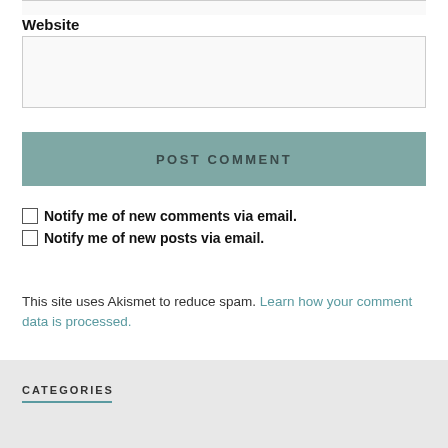Website
POST COMMENT
Notify me of new comments via email.
Notify me of new posts via email.
This site uses Akismet to reduce spam. Learn how your comment data is processed.
CATEGORIES